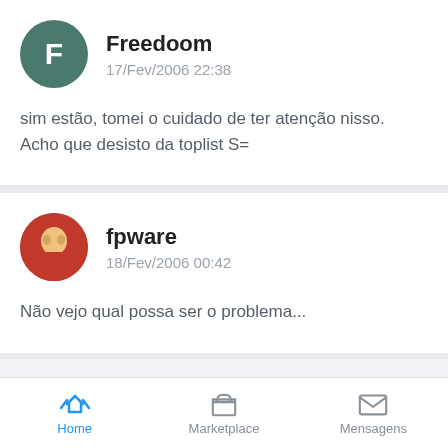Freedoom
17/Fev/2006 22:38
sim estão, tomei o cuidado de ter atenção nisso.
Acho que desisto da toplist S=
fpware
18/Fev/2006 00:42
Não vejo qual possa ser o problema...
Home  Marketplace  Mensagens